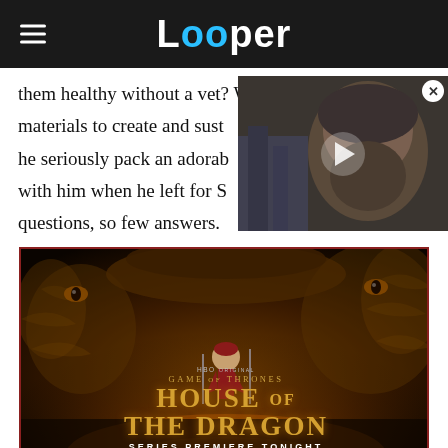Looper
them healthy without a vet? Wh... materials to create and sust... he seriously pack an adorab... with him when he left for S... questions, so few answers.
[Figure (screenshot): Video overlay showing a bearded man with a play button, with a close (X) button in top right corner]
[Figure (other): HBO Game of Thrones: House of the Dragon advertisement banner. Shows a young woman in red dress standing before a large dragon, golden text reading HOUSE OF THE DRAGON, with text SERIES PREMIERE TONIGHT at the bottom.]